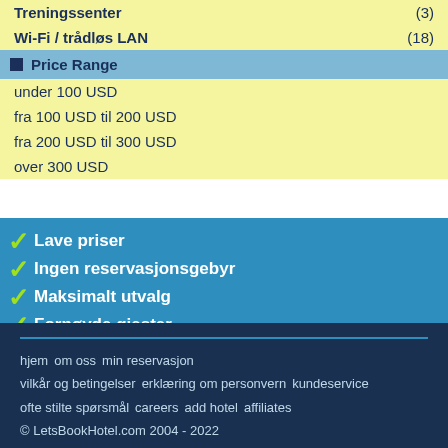Treningssenter (3)
Wi-Fi / trådløs LAN (18)
Price Range
under 100 USD
fra 100 USD til 200 USD
fra 200 USD til 300 USD
over 300 USD
✓ Lave priser
✓ Ingen reservasjonsgebyr
✓ Maksimalt utvalg
✓ Fornøyde gjester
hjem  om oss  min reservasjon  vilkår og betingelser  erklæring om personvern  kundeservice  ofte stilte spørsmål  careers  add hotel  affiliates  © LetsBookHotel.com 2004 - 2022